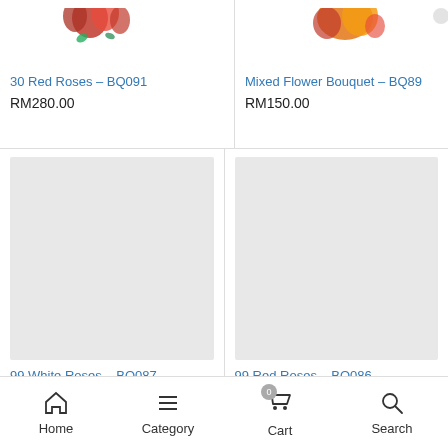[Figure (photo): Partial top view of red roses bouquet for product: 30 Red Roses BQ091]
30 Red Roses – BQ091
RM280.00
[Figure (photo): Partial top view of mixed flower bouquet for product: Mixed Flower Bouquet BQ89]
Mixed Flower Bouquet – BQ89
RM150.00
[Figure (photo): Light gray placeholder image for 99 White Roses BQ087]
99 White Roses – BQ087
RM550.00
[Figure (photo): Light gray placeholder image for 99 Red Roses BQ086]
99 Red Roses – BQ086
RM550.00 – RM500.00
Home  Category  Cart  Search